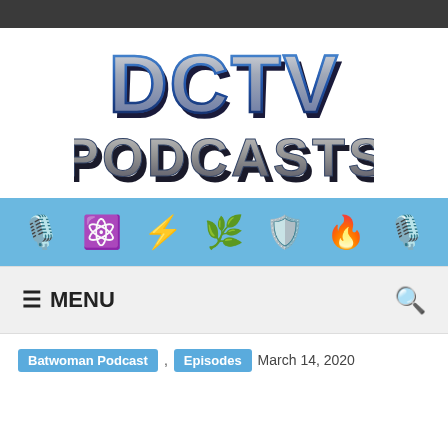[Figure (logo): DCTV Podcasts logo in metallic blue and silver 3D lettering]
[Figure (illustration): Icon bar with light blue background showing 7 podcast/show icons: microphone, atomic symbol, Flash orb, Martian Manhunter, shield with L, red flame, microphone]
≡ MENU
Batwoman Podcast , Episodes March 14, 2020